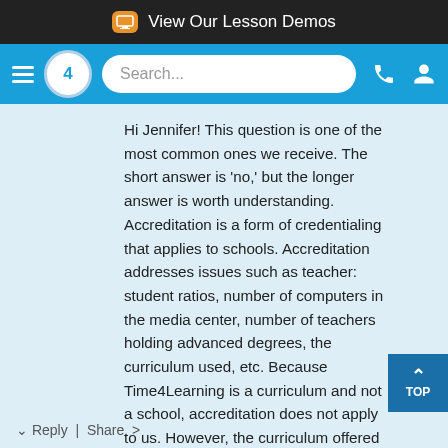View Our Lesson Demos
Hi Jennifer! This question is one of the most common ones we receive. The short answer is 'no,' but the longer answer is worth understanding. Accreditation is a form of credentialing that applies to schools. Accreditation addresses issues such as teacher: student ratios, number of computers in the media center, number of teachers holding advanced degrees, the curriculum used, etc. Because Time4Learning is a curriculum and not a school, accreditation does not apply to us. However, the curriculum offered by Time4Learning is used at many accredited schools across the United States, and it is educationally rigorous. Please let us know if we can answer any additional questions for y
Reply | Share